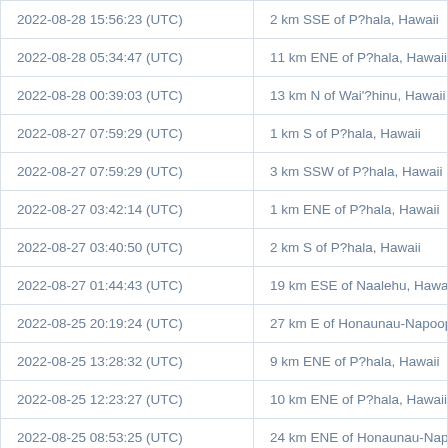| Date/Time (UTC) | Location |
| --- | --- |
| 2022-08-28 15:56:23 (UTC) | 2 km SSE of P?hala, Hawaii |
| 2022-08-28 05:34:47 (UTC) | 11 km ENE of P?hala, Hawaii |
| 2022-08-28 00:39:03 (UTC) | 13 km N of Wai'?hinu, Hawaii |
| 2022-08-27 07:59:29 (UTC) | 1 km S of P?hala, Hawaii |
| 2022-08-27 07:59:29 (UTC) | 3 km SSW of P?hala, Hawaii |
| 2022-08-27 03:42:14 (UTC) | 1 km ENE of P?hala, Hawaii |
| 2022-08-27 03:40:50 (UTC) | 2 km S of P?hala, Hawaii |
| 2022-08-27 01:44:43 (UTC) | 19 km ESE of Naalehu, Hawaii |
| 2022-08-25 20:19:24 (UTC) | 27 km E of Honaunau-Napoopoo, Ha |
| 2022-08-25 13:28:32 (UTC) | 9 km ENE of P?hala, Hawaii |
| 2022-08-25 12:23:27 (UTC) | 10 km ENE of P?hala, Hawaii |
| 2022-08-25 08:53:25 (UTC) | 24 km ENE of Honaunau-Napoopoo, |
| 2022-08-25 03:31:42 (UTC) | 5 km SSW of P?hala, Hawaii |